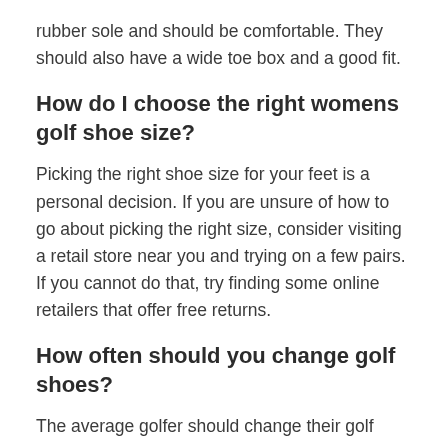rubber sole and should be comfortable. They should also have a wide toe box and a good fit.
How do I choose the right womens golf shoe size?
Picking the right shoe size for your feet is a personal decision. If you are unsure of how to go about picking the right size, consider visiting a retail store near you and trying on a few pairs. If you cannot do that, try finding some online retailers that offer free returns.
How often should you change golf shoes?
The average golfer should change their golf shoes